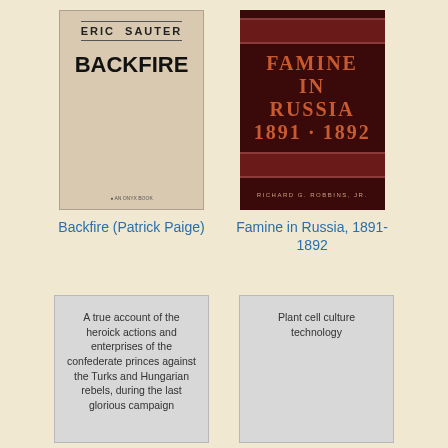[Figure (illustration): Book cover: Backfire by Eric Sauter. Beige/tan cover with author name at top between horizontal rules, large bold title BACKFIRE, small circular logo at bottom reading AN ONYX BOOK.]
Backfire (Patrick Paige)
[Figure (illustration): Book cover: Famine in Russia 1891-1892 by Richard G. Robbins Jr. Dark maroon cover with red-orange title text, decorative red stripe borders top and bottom of center area.]
Famine in Russia, 1891-1892
[Figure (illustration): Grey card with text: A true account of the heroick actions and enterprises of the confederate princes against the Turks and Hungarian rebels, during the last glorious campaign]
[Figure (illustration): Grey card with text: Plant cell culture technology]